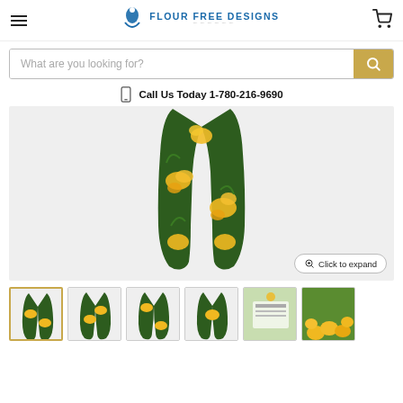Flour Free Designs - Navigation header with hamburger menu, logo, and cart
What are you looking for?
Call Us Today 1-780-216-9690
[Figure (photo): Floral print capri leggings featuring yellow lilies on dark green background, shown without a model]
[Figure (photo): Thumbnail 1 - selected: yellow lily leggings front view]
[Figure (photo): Thumbnail 2: yellow lily leggings alternate view]
[Figure (photo): Thumbnail 3: yellow lily leggings side view]
[Figure (photo): Thumbnail 4: yellow lily leggings back view]
[Figure (photo): Thumbnail 5: model wearing yellow lily leggings]
[Figure (photo): Thumbnail 6: yellow flowers field photo]